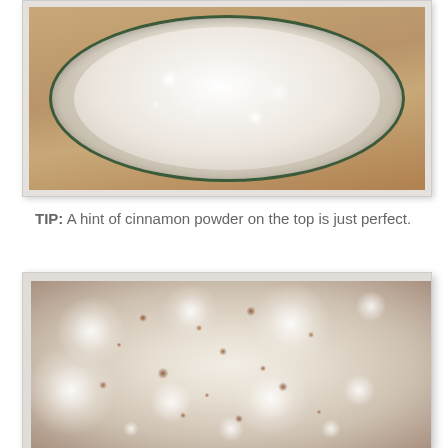[Figure (photo): Overhead view of a glass bowl containing frothy white milk or liquid with foam bubbles on a wooden surface]
TIP: A hint of cinnamon powder on the top is just perfect.
[Figure (photo): Close-up overhead view of frothy white milk foam with brown cinnamon powder scattered across the surface, showing large and small bubbles]